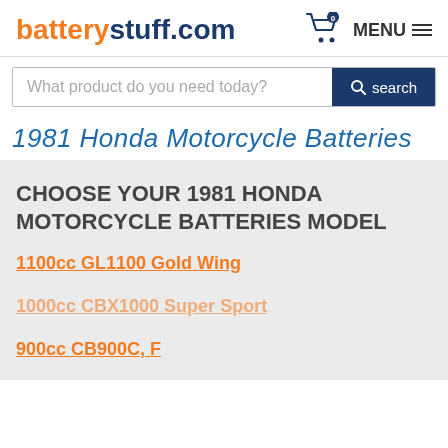batterystuff.com
What product do you need today?
1981 Honda Motorcycle Batteries
CHOOSE YOUR 1981 HONDA MOTORCYCLE BATTERIES MODEL
1100cc GL1100 Gold Wing
1000cc CBX1000 Super Sport
900cc CB900C, F